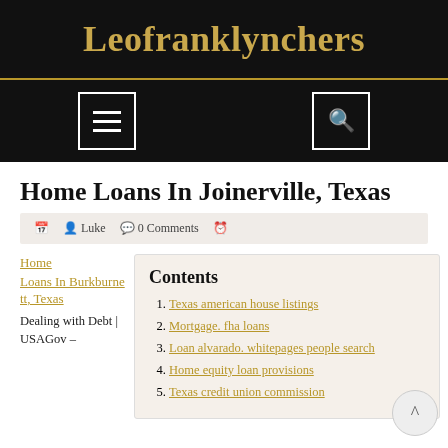Leofranklynchers
[Figure (other): Navigation bar with hamburger menu icon and search icon on black background]
Home Loans In Joinerville, Texas
Luke  0 Comments
Home
Loans In Burkburnett, Texas
Dealing with Debt | USAGov –
Contents
Texas american house listings
Mortgage. fha loans
Loan alvarado. whitepages people search
Home equity loan provisions
Texas credit union commission